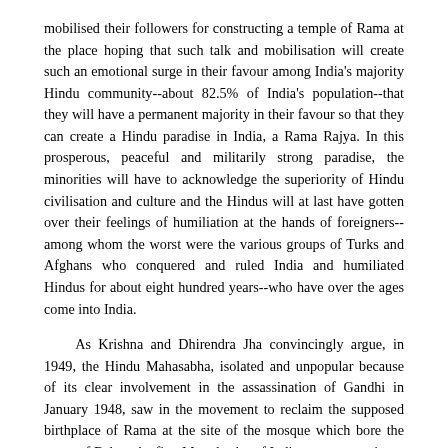mobilised their followers for constructing a temple of Rama at the place hoping that such talk and mobilisation will create such an emotional surge in their favour among India's majority Hindu community--about 82.5% of India's population--that they will have a permanent majority in their favour so that they can create a Hindu paradise in India, a Rama Rajya. In this prosperous, peaceful and militarily strong paradise, the minorities will have to acknowledge the superiority of Hindu civilisation and culture and the Hindus will at last have gotten over their feelings of humiliation at the hands of foreigners-- among whom the worst were the various groups of Turks and Afghans who conquered and ruled India and humiliated Hindus for about eight hundred years--who have over the ages come into India.
As Krishna and Dhirendra Jha convincingly argue, in 1949, the Hindu Mahasabha, isolated and unpopular because of its clear involvement in the assassination of Gandhi in January 1948, saw in the movement to reclaim the supposed birthplace of Rama at the site of the mosque which bore the name of Babar, the first Mogul ruler of India, an opportunity to shore up its political fortunes. Even though the Hindu Mahasabha men in Uttar Pradesh and their henchmen among the sadhus of Ayodhya succeeded in converting the mosque into a small temple of Rama in December 1949,